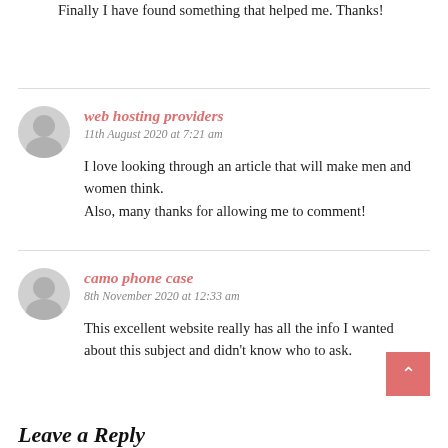Finally I have found something that helped me. Thanks!
web hosting providers
11th August 2020 at 7:21 am
I love looking through an article that will make men and women think.
Also, many thanks for allowing me to comment!
camo phone case
8th November 2020 at 12:33 am
This excellent website really has all the info I wanted
about this subject and didn't know who to ask.
Leave a Reply